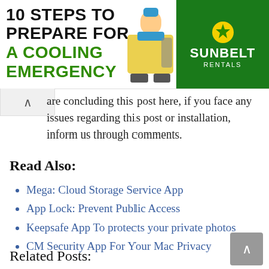[Figure (infographic): Advertisement banner for '10 Steps To Prepare For A Cooling Emergency' featuring Sunbelt Rentals logo and a worker in yellow vest]
are concluding this post here, if you face any issues regarding this post or installation, inform us through comments.
Read Also:
Mega: Cloud Storage Service App
App Lock: Prevent Public Access
Keepsafe App To protects your private photos
CM Security App For Your Mac Privacy
Related Posts: